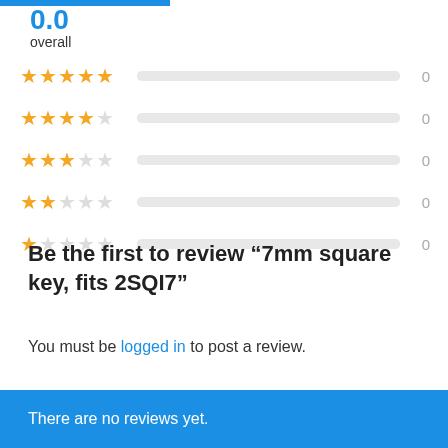[Figure (other): Partial rating score number '0.0' in blue with a blue bar above it]
overall
[Figure (bar-chart): Star rating breakdown: 5 stars=0, 4 stars=0, 3 stars=0, 2 stars=0, 1 star=0]
Be the first to review “7mm square key, fits 2SQI7”
You must be logged in to post a review.
There are no reviews yet.